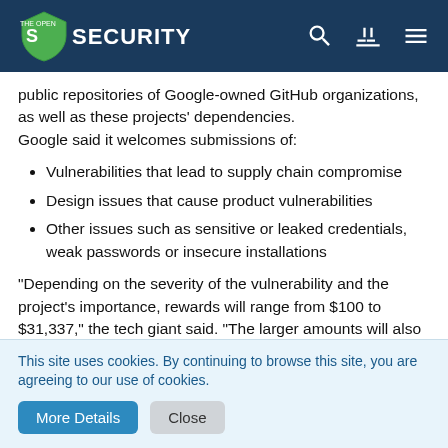The Open Security
public repositories of Google-owned GitHub organizations, as well as these projects' dependencies.
Google said it welcomes submissions of:
Vulnerabilities that lead to supply chain compromise
Design issues that cause product vulnerabilities
Other issues such as sensitive or leaked credentials, weak passwords or insecure installations
“Depending on the severity of the vulnerability and the project’s importance, rewards will range from $100 to $31,337,” the tech giant said. “The larger amounts will also go to unusual or particularly interesting vulnerabilities, so creativity is encouraged.”
The OSS VRP will sit alongside Google’s VRPs in Chrome,
This site uses cookies. By continuing to browse this site, you are agreeing to our use of cookies.